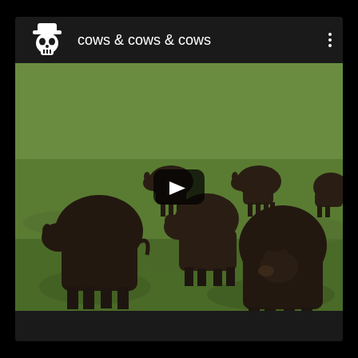[Figure (screenshot): Screenshot of a video player interface showing a YouTube-style card with a skull avatar icon, channel name 'cows & cows & cows', a three-dot menu button, and a video thumbnail showing black cattle grazing on a green field with a play button overlay in the center.]